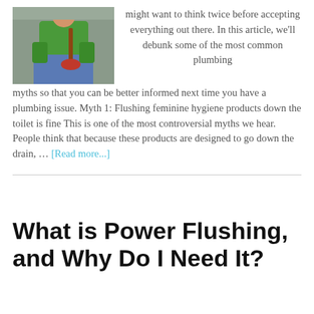[Figure (photo): Person wearing green gloves holding a plunger, dressed in jeans and a green top, sitting near a toilet]
might want to think twice before accepting everything out there. In this article, we'll debunk some of the most common plumbing myths so that you can be better informed next time you have a plumbing issue. Myth 1: Flushing feminine hygiene products down the toilet is fine This is one of the most controversial myths we hear. People think that because these products are designed to go down the drain, … [Read more...]
What is Power Flushing, and Why Do I Need It?